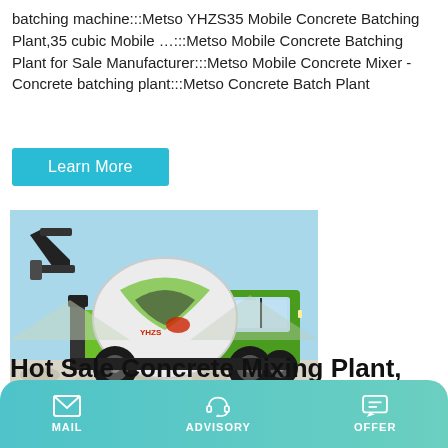batching machine:::Metso YHZS35 Mobile Concrete Batching Plant,35 cubic Mobile ...:::Metso Mobile Concrete Batching Plant for Sale Manufacturer:::Metso Mobile Concrete Mixer - Concrete batching plant:::Metso Concrete Batch Plant
Learn More
[Figure (photo): Green and black self-loading concrete mixer truck parked outdoors with a white drum and green cab body, against a pale blue sky background with gravel/aggregate in the foreground.]
Hot Sale Concrete Mixing Plant, Yhzs25 Mobile Concrete
MAIL   ADVISORY   OFFER